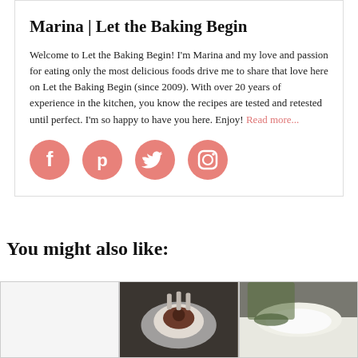Marina | Let the Baking Begin
Welcome to Let the Baking Begin! I'm Marina and my love and passion for eating only the most delicious foods drive me to share that love here on Let the Baking Begin (since 2009). With over 20 years of experience in the kitchen, you know the recipes are tested and retested until perfect. I'm so happy to have you here. Enjoy! Read more...
[Figure (infographic): Four salmon/pink circular social media icon buttons: Facebook, Pinterest, Twitter, Instagram]
You might also like:
[Figure (photo): Three thumbnail images side by side: blank/white, food photo with chocolate dessert on plate, food photo with white powder/flour]